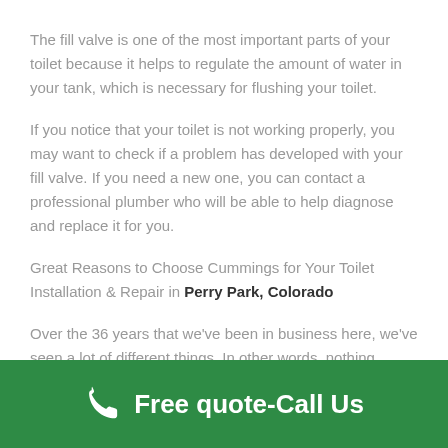The fill valve is one of the most important parts of your toilet because it helps to regulate the amount of water in your tank, which is necessary for flushing your toilet.
If you notice that your toilet is not working properly, you may want to check if a problem has developed with your fill valve. If you need a new one, you can contact a professional plumber who will be able to help diagnose and replace it for you.
Great Reasons to Choose Cummings for Your Toilet Installation & Repair in Perry Park, Colorado
Over the 36 years that we've been in business here, we've seen a lot of different things. In other words, nothing
Free quote-Call Us